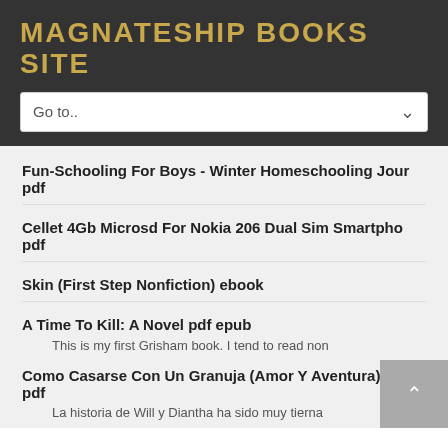MAGNATESHIP BOOKS SITE
Fun-Schooling For Boys - Winter Homeschooling Jour pdf
Cellet 4Gb Microsd For Nokia 206 Dual Sim Smartpho pdf
Skin (First Step Nonfiction) ebook
A Time To Kill: A Novel pdf epub
This is my first Grisham book. I tend to read non
Como Casarse Con Un Granuja (Amor Y Aventura) (Spa pdf
La historia de Will y Diantha ha sido muy tierna